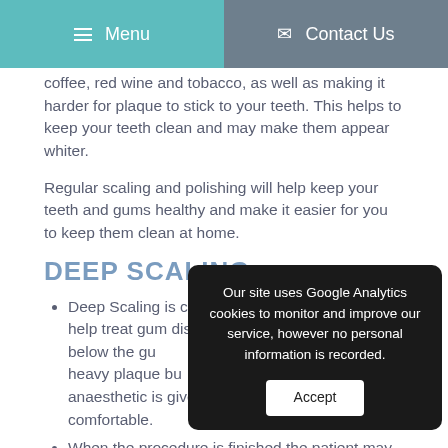Menu | Contact Us
coffee, red wine and tobacco, as well as making it harder for plaque to stick to your teeth. This helps to keep your teeth clean and may make them appear whiter.
Regular scaling and polishing will help keep your teeth and gums healthy and make it easier for you to keep them clean at home.
DEEP SCALING
Deep Scaling is cleaning below the gumline to help treat gum disease (periodontitis). Working below the gum line, the hygienist scales away heavy plaque build-up and tartar. A local anaesthetic is given to ensure the patient is comfortable.
When the procedure is finished the patient may notice
Our site uses Google Analytics cookies to monitor and improve our service, however no personal information is recorded. Accept